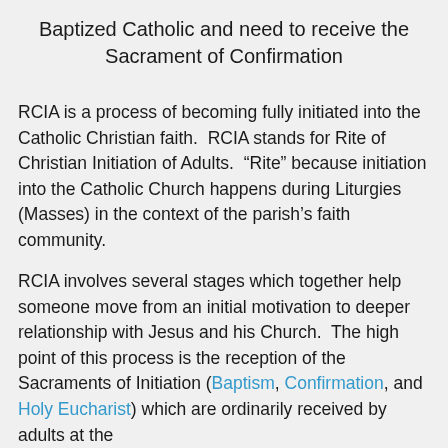Baptized Catholic and need to receive the Sacrament of Confirmation
RCIA is a process of becoming fully initiated into the Catholic Christian faith.  RCIA stands for Rite of Christian Initiation of Adults.  “Rite” because initiation into the Catholic Church happens during Liturgies (Masses) in the context of the parish’s faith community.
RCIA involves several stages which together help someone move from an initial motivation to deeper relationship with Jesus and his Church.  The high point of this process is the reception of the Sacraments of Initiation (Baptism, Confirmation, and Holy Eucharist) which are ordinarily received by adults at the